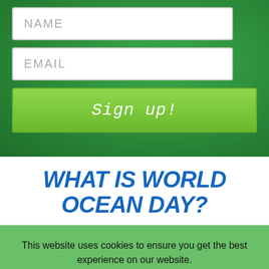NAME
EMAIL
Sign up!
WHAT IS WORLD OCEAN DAY?
This website uses cookies to ensure you get the best experience on our website. See full disclosure here.
ACCEPT